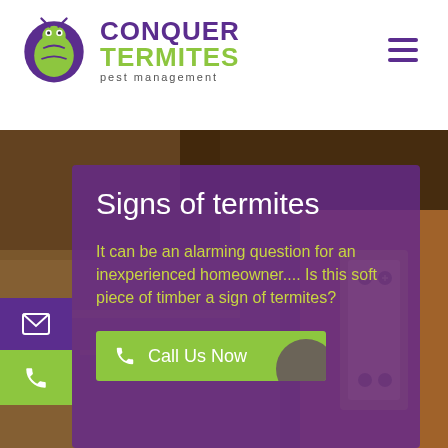[Figure (logo): Conquer Termites pest management logo with stylized insect icon, purple and green colors]
[Figure (other): Hamburger menu icon (three horizontal purple lines) in top-right of header]
[Figure (photo): Background photo showing wood surface with termite damage and a metal door hinge]
Signs of termites
It can be an alarming question for an inexperienced homeowner.... Is this soft piece of timber a sign of termites?
[Figure (other): Green 'Call Us Now' button with phone icon]
[Figure (other): Purple email icon sidebar button on left]
[Figure (other): Green phone icon sidebar button on left]